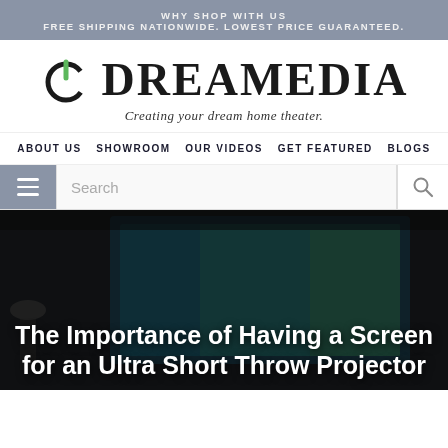WHY SHOP WITH US
FREE SHIPPING NATIONWIDE. LOWEST PRICE GUARANTEED.
[Figure (logo): DREAMEDIA logo with power icon and tagline 'Creating your dream home theater.']
ABOUT US  SHOWROOM  OUR VIDEOS  GET FEATURED  BLOGS
Search
The Importance of Having a Screen for an Ultra Short Throw Projector